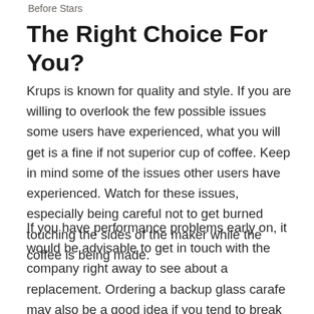Before Stars
The Right Choice For You?
Krups is known for quality and style. If you are willing to overlook the few possible issues some users have experienced, what you will get is a fine if not superior cup of coffee. Keep in mind some of the issues other users have experienced. Watch for these issues, especially being careful not to get burned touching the sides of the maker while the coffee is being made.
If you have performance problems early on, it would be advisable to get in touch with the company right away to see about a replacement. Ordering a backup glass carafe may also be a good idea if you tend to break or crack yours over time.